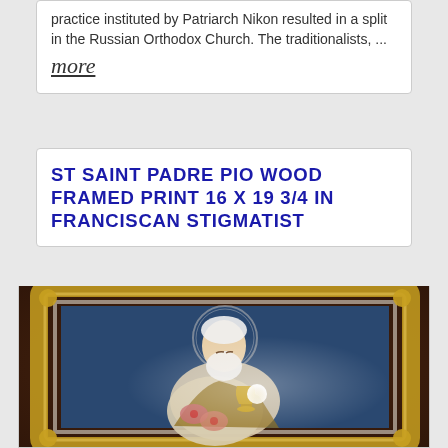practice instituted by Patriarch Nikon resulted in a split in the Russian Orthodox Church. The traditionalists, ... more
ST SAINT PADRE PIO WOOD FRAMED PRINT 16 X 19 3/4 IN FRANCISCAN STIGMATIST
[Figure (photo): A framed portrait print of Saint Padre Pio in a gold ornate wooden frame, showing an elderly bearded man in Franciscan robes bowing over a chalice and eucharist, with a halo visible behind his head, set against a dark brown leather background.]